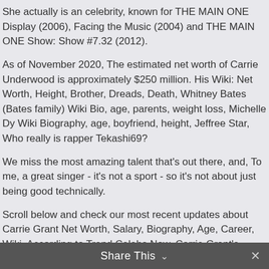She actually is an celebrity, known for THE MAIN ONE Display (2006), Facing the Music (2004) and THE MAIN ONE Show: Show #7.32 (2012).
As of November 2020, The estimated net worth of Carrie Underwood is approximately $250 million. His Wiki: Net Worth, Height, Brother, Dreads, Death, Whitney Bates (Bates family) Wiki Bio, age, parents, weight loss, Michelle Dy Wiki Biography, age, boyfriend, height, Jeffree Star, Who really is rapper Tekashi69?
We miss the most amazing talent that's out there, and, To me, a great singer - it's not a sport - so it's not about just being good technically.
Scroll below and check our most recent updates about Carrie Grant Net Worth, Salary, Biography, Age, Career, Wiki. According to Trend Celebs Now, Carrie Grant's estimated Net Worth, Salary, Income, Cars, Lifestyles & much more details has been updated below. Carrie